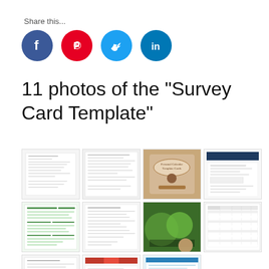Share this...
[Figure (infographic): Social media share buttons: Facebook (blue), Pinterest (red), Twitter (light blue), LinkedIn (dark blue)]
11 photos of the "Survey Card Template"
[Figure (photo): Gallery of 11 survey card template thumbnail images arranged in a grid]